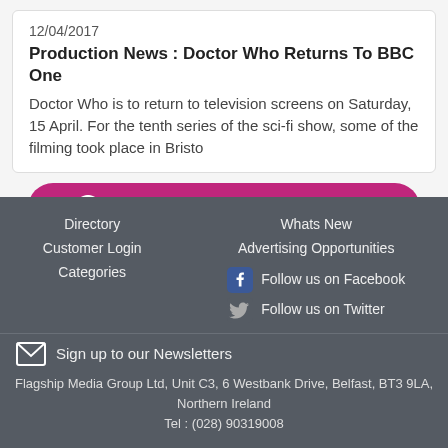12/04/2017
Production News : Doctor Who Returns To BBC One
Doctor Who is to return to television screens on Saturday, 15 April. For the tenth series of the sci-fi show, some of the filming took place in Bristo
More News From Around The Web
Directory
Customer Login
Categories
Whats New
Advertising Opportunities
Follow us on Facebook
Follow us on Twitter
Sign up to our Newsletters
Flagship Media Group Ltd, Unit C3, 6 Westbank Drive, Belfast, BT3 9LA, Northern Ireland
Tel : (028) 90319008